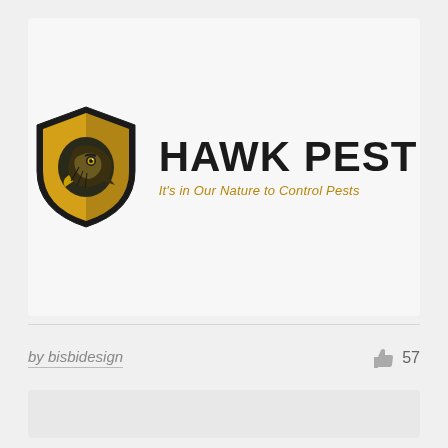[Figure (logo): Hawk Pest logo: a hawk head inside a shield shape in gold and black, with the text HAWK PEST in bold black and the tagline It's in Our Nature to Control Pests in gold italic]
by bisbidesign
57